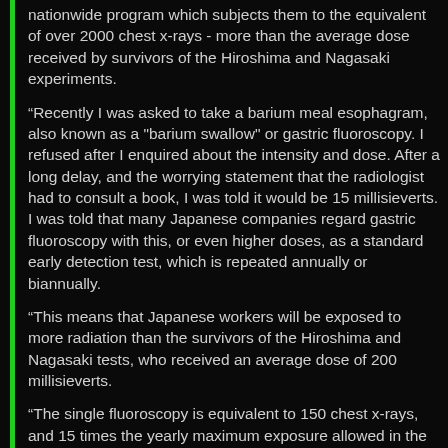nationwide program which subjects them to the equivalent of over 2000 chest x-rays - more than the average dose received by survivors of the Hiroshima and Nagasaki experiments.
“Recently I was asked to take a barium meal esophagram, also known as a "barium swallow" or gastric fluoroscopy. I refused after I enquired about the intensity and dose. After a long delay, and the worrying statement that the radiologist had to consult a book, I was told it would be 15 millisieverts. I was told that many Japanese companies regard gastric fluoroscopy with this, or even higher doses, as a standard early detection test, which is repeated annually or biannually.
“This means that Japanese workers will be exposed to more radiation than the survivors of the Hiroshima and Nagasaki tests, who received an average dose of 200 millisieverts.
“The single fluoroscopy is equivalent to 150 chest x-rays, and 15 times the yearly maximum exposure allowed in the United States. It greatly exceeds the dose received by workers at high level nuclear plants. It is equal to the exposure received by an astronaut in space for one month (recognized hazard). But the energy is